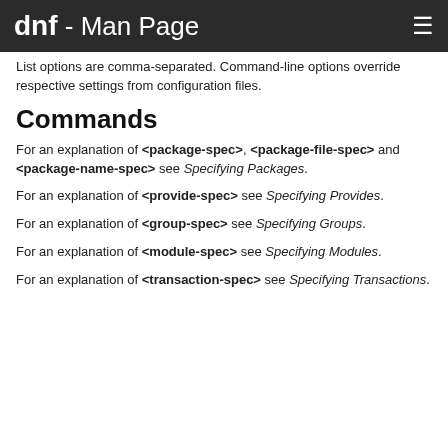dnf - Man Page
List options are comma-separated. Command-line options override respective settings from configuration files.
Commands
For an explanation of <package-spec>, <package-file-spec> and <package-name-spec> see Specifying Packages.
For an explanation of <provide-spec> see Specifying Provides.
For an explanation of <group-spec> see Specifying Groups.
For an explanation of <module-spec> see Specifying Modules.
For an explanation of <transaction-spec> see Specifying Transactions.